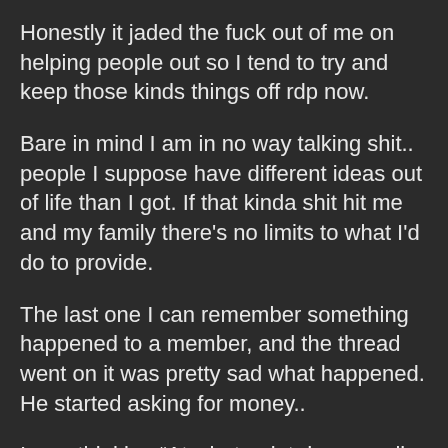Honestly it jaded the fuck out of me on helping people out so I tend to try and keep those kinds things off rdp now.
Bare in mind I am in no way talking shit.. people I suppose have different ideas out of life than I got. If that kinda shit hit me and my family there's no limits to what I'd do to provide.
The last one I can remember something happened to a member, and the thread went on it was pretty sad what happened. He started asking for money..
I was thinking “At what point do you sell the boat?”
Very few if any donated, I’d assume because people were thinking the same thing as me.. half the time the guy was posting asking for money he was doing it in his boat on the water? lol. He doesn’t post here anymore...